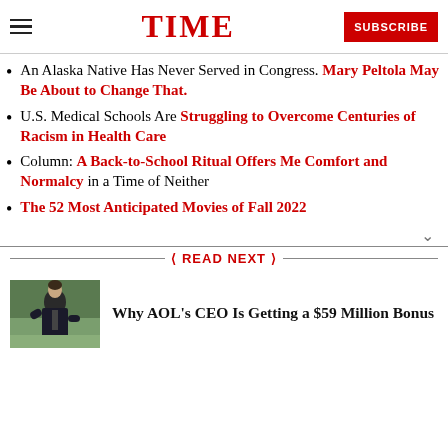TIME | SUBSCRIBE
An Alaska Native Has Never Served in Congress. Mary Peltola May Be About to Change That.
U.S. Medical Schools Are Struggling to Overcome Centuries of Racism in Health Care
Column: A Back-to-School Ritual Offers Me Comfort and Normalcy in a Time of Neither
The 52 Most Anticipated Movies of Fall 2022
READ NEXT
[Figure (photo): Photo of AOL CEO speaking at an event, man in dark suit gesturing]
Why AOL's CEO Is Getting a $59 Million Bonus